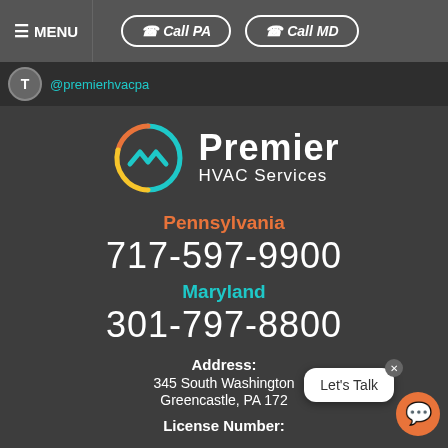MENU | Call PA | Call MD
@premierhvacpa
[Figure (logo): Premier HVAC Services logo with circular HVAC wave icon in orange, red, teal and yellow colors, followed by 'Premier HVAC Services' in white text]
Pennsylvania
717-597-9900
Maryland
301-797-8800
Address:
345 South Washington
Greencastle, PA 172
License Number:
Let's Talk